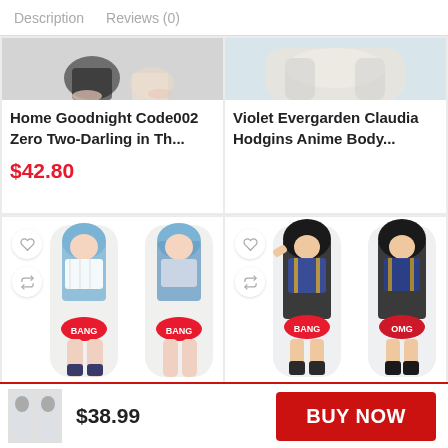Description   Reviews (0)
[Figure (photo): Partial anime body pillow product image cropped at top, showing figure with dark hair]
Home Goodnight Code002 Zero Two-Darling in Th...
$42.80
[Figure (photo): Partial anime body pillow product image cropped at top, showing pillow with light background]
Violet Evergarden Claudia Hodgins Anime Body...
[Figure (photo): Anime body pillow (dakimakura) with blue-haired female character, two sides shown]
[Figure (photo): Anime body pillow (dakimakura) with dark-haired female character, two sides shown]
[Figure (photo): Thumbnail of body pillow product in footer]
$38.99
BUY NOW